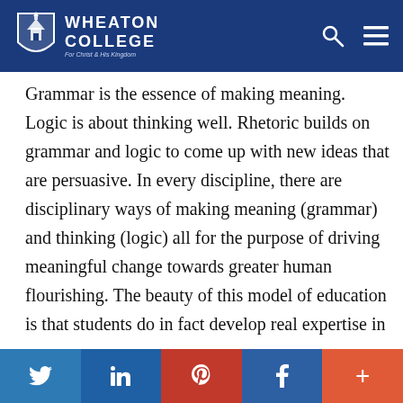Wheaton College — For Christ and His Kingdom
Grammar is the essence of making meaning. Logic is about thinking well. Rhetoric builds on grammar and logic to come up with new ideas that are persuasive. In every discipline, there are disciplinary ways of making meaning (grammar) and thinking (logic) all for the purpose of driving meaningful change towards greater human flourishing. The beauty of this model of education is that students do in fact develop real expertise in 1) how to make meaning in a particular context, 2) how to think well in that context and 3) how to drive meaningful change.
Twitter | LinkedIn | Pinterest | Facebook | More